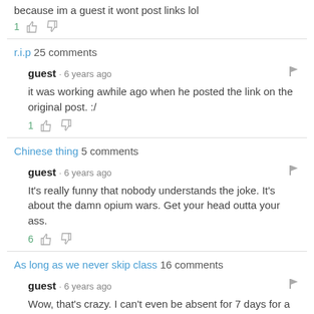because im a guest it wont post links lol
1 [thumbs up] [thumbs down]
r.i.p 25 comments
guest · 6 years ago
it was working awhile ago when he posted the link on the original post. :/
1 [thumbs up] [thumbs down]
Chinese thing 5 comments
guest · 6 years ago
It's really funny that nobody understands the joke. It's about the damn opium wars. Get your head outta your ass.
6 [thumbs up] [thumbs down]
As long as we never skip class 16 comments
guest · 6 years ago
Wow, that's crazy. I can't even be absent for 7 days for a whole 2 months, even if I turn in a note.